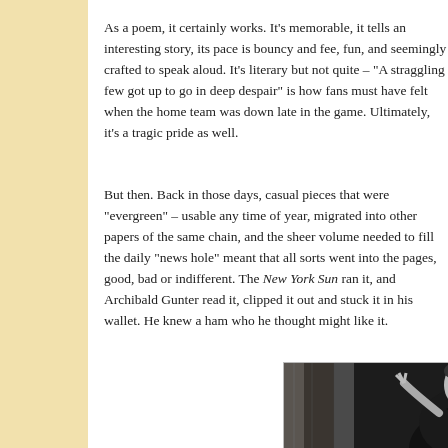As a poem, it certainly works. It's memorable, it tells an interesting story, its pace is bouncy and fee, fun, and seemingly crafted to speak aloud. It's literary but not quite – "A straggling few got up to go in deep despair" is how fans must have felt when the home team was down late in the game. Ultimately, it's a tragic pride as well.
But then. Back in those days, casual pieces that were "evergreen" – usable any time of year, migrated into other papers of the same chain, and the sheer volume needed to fill the daily "news hole" meant that all sorts went into the pages, good, bad or indifferent. The New York Sun ran it, and Archibald Gunter read it, clipped it out and stuck it in his wallet. He knew a ham who he thought might like it.
[Figure (photo): Black and white photograph of a man in formal attire (tuxedo/bow tie) performing on stage with curtains in the background, gesturing expressively with his hands]